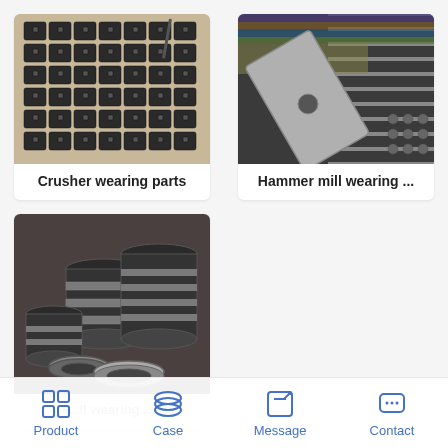[Figure (photo): Crusher wearing parts – rows of black metal block parts with square holes arranged on a surface]
Crusher wearing parts
[Figure (photo): Hammer mill wearing parts – metal grate bars and a large flat metal hammer/blade piece]
Hammer mill wearing ...
[Figure (photo): Mill wearing parts – stacked cylindrical metal rings and bushings in a workshop]
P...ll wearing...ts
Product  Case  Message  Contact